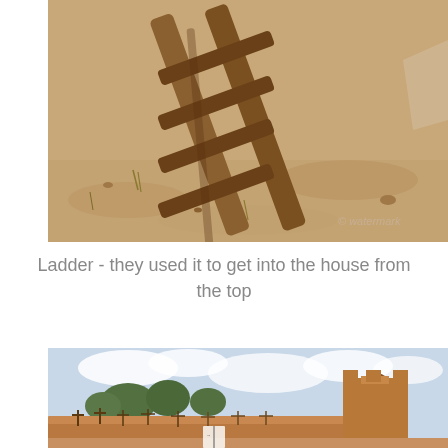[Figure (photo): Close-up photo of a wooden ladder lying on sandy/dirt ground, with wooden cross pieces. Adobe/desert setting. Watermark visible in lower right corner.]
Ladder - they used it to get into the house from the top
[Figure (photo): Wide outdoor photo of a desert/adobe ruins complex with a cemetery area enclosed by low adobe walls, wooden crosses as grave markers, trees in background, and a large adobe bell tower or chimney structure on the right. Cloudy sky.]